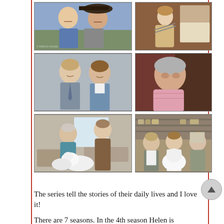[Figure (photo): Six TV show scene/cast photos arranged in a 2x3 grid. Top-left: man and woman smiling outdoors, woman wearing a hat. Top-right: woman in period dress sitting, knitting. Middle-left: man and woman posing, both in professional attire. Middle-right: older heavyset woman with gray hair in pink outfit. Bottom-left: interior scene with two people and a white fluffy dog. Bottom-right: three men in shop coats holding a white fluffy rabbit in a store.]
The series tell the stories of their daily lives and I love it!
There are 7 seasons. In the 4th season Helen is